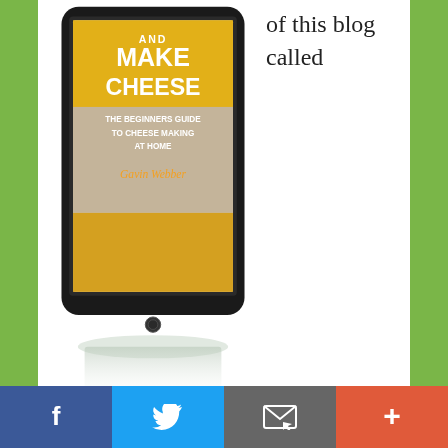[Figure (illustration): E-reader/tablet displaying a book cover 'Make Cheese - The Beginners Guide to Cheese Making at Home' by Gavin Webber, with yellow and stone texture design, shown on a black tablet device with reflection below.]
of this blog called
shop.greeningofgavin.com, that looks pretty much the same as this blog except that it is cut down a bit to improve e-commerce functionality.
Over the last couple of days, I've been busy in the back-end tweaking (not twerking) the